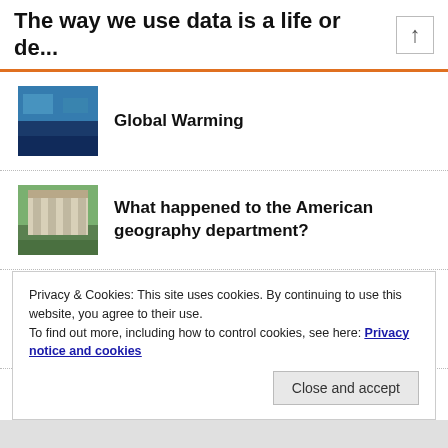The way we use data is a life or de...
Global Warming
What happened to the American geography department?
Redefining the Upper Amazon River
What can geography contribute to understanding Monkeypox in the UK?
Privacy & Cookies: This site uses cookies. By continuing to use this website, you agree to their use.
To find out more, including how to control cookies, see here: Privacy notice and cookies
Close and accept